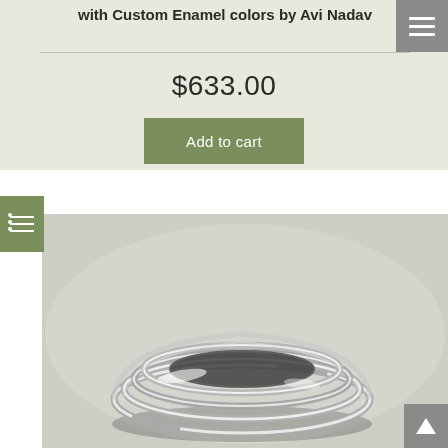with Custom Enamel colors by Avi Nadav
$633.00
Add to cart
[Figure (photo): Close-up photograph of a silver stacking ring set with multiple bands, shown from above on a light gray background.]